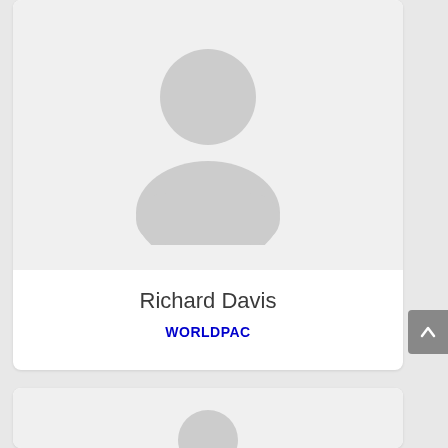[Figure (photo): Default user avatar silhouette placeholder image in a profile card for Richard Davis]
Richard Davis
WORLDPAC
[Figure (photo): Partial default user avatar silhouette placeholder image in a second profile card (partially visible at bottom)]